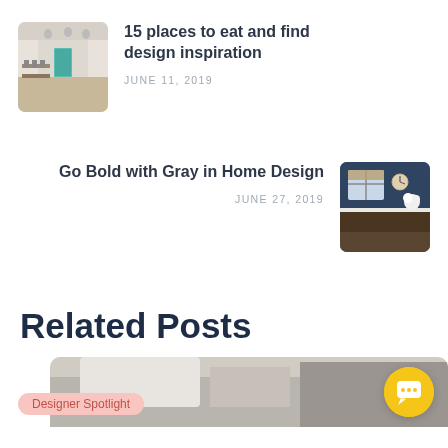[Figure (photo): Interior restaurant photo showing long dining hall with pendant lights and blue/green door]
15 places to eat and find design inspiration
JUNE 11, 2019
Go Bold with Gray in Home Design
JUNE 27, 2019
[Figure (photo): Dark navy kitchen interior with wooden cabinets and white flowers]
Related Posts
[Figure (photo): Partial view of a bedroom/living area with a Designer Spotlight badge overlay]
[Figure (other): Yellow circular chat button with white chat icon]